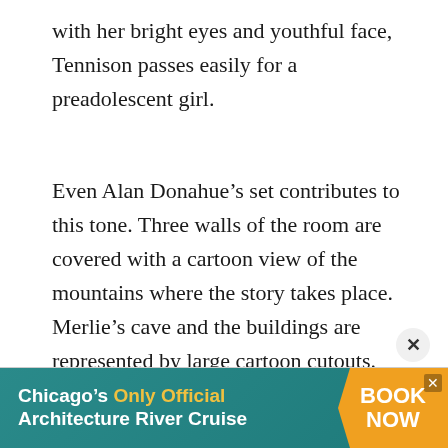with her bright eyes and youthful face, Tennison passes easily for a preadolescent girl.
Even Alan Donahue’s set contributes to this tone. Three walls of the room are covered with a cartoon view of the mountains where the story takes place. Merlie’s cave and the buildings are represented by large cartoon cutouts. And a tube of blue cloth blown upward by a fan serves as the geyser.
[Figure (infographic): Advertisement banner for Chicago's Only Official Architecture River Cruise with a teal background, yellow highlighted text, and an orange arrow-shaped button reading BOOK NOW]